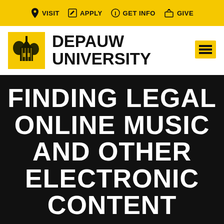VISIT  APPLY  GET INFO  GIVE
[Figure (logo): DePauw University logo with building illustration on yellow background, next to bold text DEPAUW UNIVERSITY]
FINDING LEGAL ONLINE MUSIC AND OTHER ELECTRONIC CONTENT
HOME | INFORMATION SERVICES | IT POLICIES & COMMITTEES | FINDING LEGAL ONLINE MUSIC & ELECTRONIC CONTENT